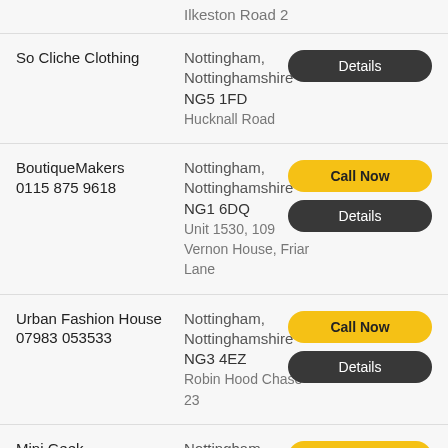Ilkeston Road 2
So Cliche Clothing
Nottingham, Nottinghamshire NG5 1FD
Hucknall Road
BoutiqueMakers 0115 875 9618
Nottingham, Nottinghamshire NG1 6DQ
Unit 1530, 109 Vernon House, Friar Lane
Urban Fashion House 07983 053533
Nottingham, Nottinghamshire NG3 4EZ
Robin Hood Chase 23
Mini Geek
Nottingham,